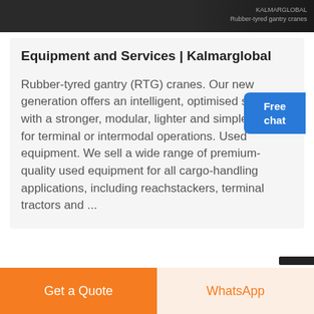[Figure (photo): Dark banner image at the top of the page, with small text on the right side reading 'KALMARGLOBAL / Rubber-tyred gantry cranes']
Equipment and Services | Kalmarglobal
Rubber-tyred gantry (RTG) cranes. Our new generation offers an intelligent, optimised solution with a stronger, modular, lighter and simpler design for terminal or intermodal operations. Used equipment. We sell a wide range of premium-quality used equipment for all cargo-handling applications, including reachstackers, terminal tractors and ...